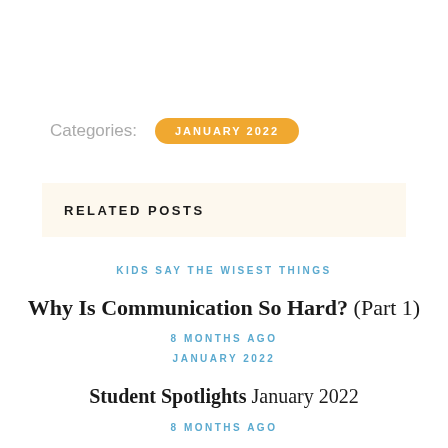Categories:  JANUARY 2022
RELATED POSTS
KIDS SAY THE WISEST THINGS
Why Is Communication So Hard? (Part 1)
8 MONTHS AGO
JANUARY 2022
Student Spotlights January 2022
8 MONTHS AGO